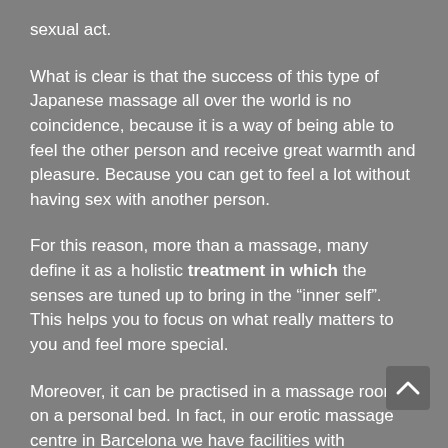sexual act.
What is clear is that the success of this type of Japanese massage all over the world is no coincidence, because it is a way of being able to feel the other person and receive great warmth and pleasure. Because you can get to feel a lot without having sex with another person.
For this reason, more than a massage, many define it as a holistic treatment in which the senses are tuned up to bring in the “inner self”. This helps you to focus on what really matters to you and feel more special.
Moreover, it can be practised in a massage room or on a personal bed. In fact, in our erotic massage centre in Barcelona we have facilities with everything you need to give massages, as well as expert erotic masseuses. But you can enjoy this